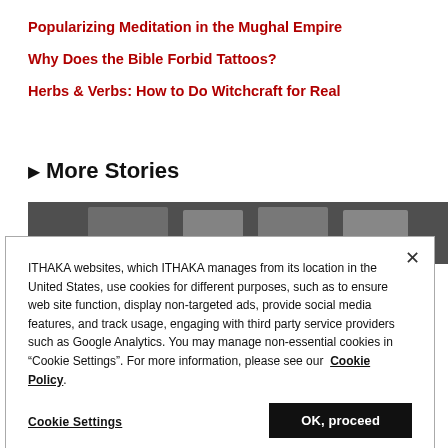Popularizing Meditation in the Mughal Empire
Why Does the Bible Forbid Tattoos?
Herbs & Verbs: How to Do Witchcraft for Real
▶ More Stories
[Figure (photo): Grayscale panoramic image of trees or landscape used as a story thumbnail]
ITHAKA websites, which ITHAKA manages from its location in the United States, use cookies for different purposes, such as to ensure web site function, display non-targeted ads, provide social media features, and track usage, engaging with third party service providers such as Google Analytics. You may manage non-essential cookies in “Cookie Settings”. For more information, please see our Cookie Policy.
Cookie Settings
OK, proceed